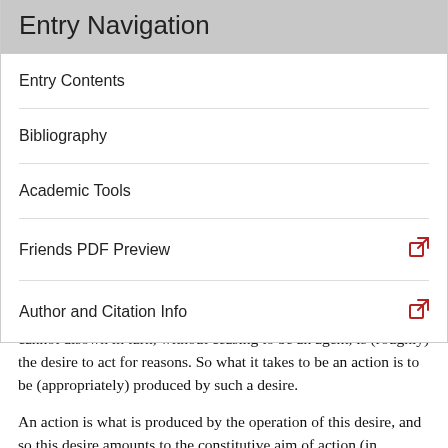Entry Navigation
Entry Contents
Bibliography
Academic Tools
Friends PDF Preview
Author and Citation Info
cannot disown in turn, without ceasing to be an agent, is (roughly) the desire to act for reasons. So what it takes to be an action is to be (appropriately) produced by such a desire.
An action is what is produced by the operation of this desire, and so this desire amounts to the constitutive aim of action (in something like the way, Velleman thinks, that truth is the constitutive aim of belief). It will thus serve to determine what putative reasons for action are (good) practical reasons (in something like the way that truth determines what reasons for belief are good reasons). But